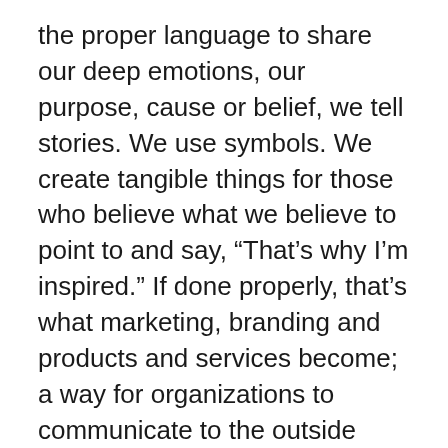the proper language to share our deep emotions, our purpose, cause or belief, we tell stories. We use symbols. We create tangible things for those who believe what we believe to point to and say, “That’s why I’m inspired.” If done properly, that’s what marketing, branding and products and services become; a way for organizations to communicate to the outside world. Communicate clearly and you shall be understood.”
— Simon Sinek
“If they had started their sales pitch with WHY the product existed in the first place, the product itself would have been the proof of f…